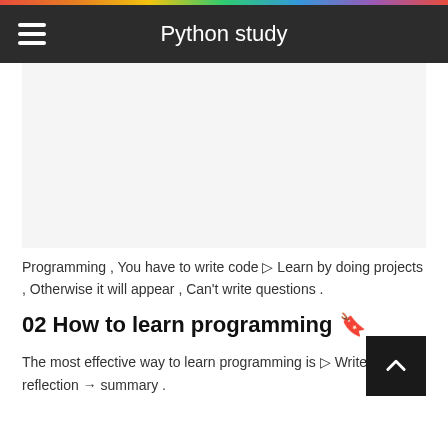Python study
[Figure (other): Advertisement or placeholder area (blank white/grey box)]
Programming , You have to write code → Learn by doing projects , Otherwise it will appear , Can't write questions .
02 How to learn programming 🔖
The most effective way to learn programming is → Write code → reflection → summary .